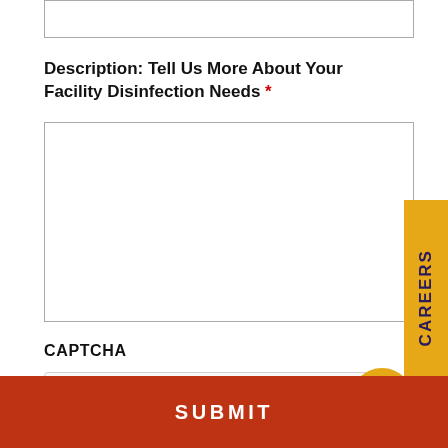[Figure (screenshot): Partial text input field visible at the top of the page, cropped.]
Description: Tell Us More About Your Facility Disinfection Needs *
[Figure (screenshot): Large empty textarea input field for facility disinfection needs description.]
CAPTCHA
[Figure (screenshot): reCAPTCHA widget with checkbox 'I'm not a robot', reCAPTCHA logo, Privacy and Terms links.]
[Figure (other): Yellow CAREERS vertical tab on the right side of the page.]
[Figure (other): Yellow circular chat button with speech bubble icon.]
SUBMIT